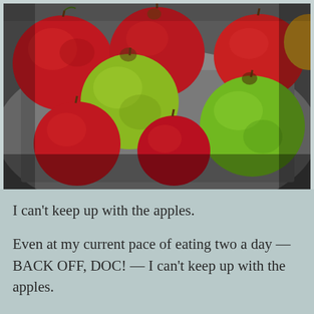[Figure (photo): Overhead photograph of multiple apples of various colors — red, green, and yellow-green — arranged on a gray surface. The apples vary in size and variety.]
I can't keep up with the apples.
Even at my current pace of eating two a day — BACK OFF, DOC! — I can't keep up with the apples.
Nearly every time I leave my apartment, some